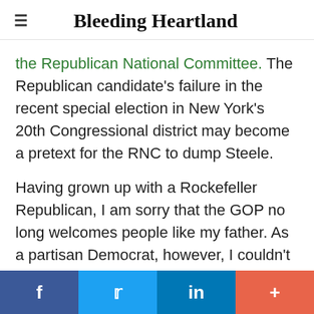Bleeding Heartland
the Republican National Committee. The Republican candidate's failure in the recent special election in New York's 20th Congressional district may become a pretext for the RNC to dump Steele.
Having grown up with a Rockefeller Republican, I am sorry that the GOP no long welcomes people like my father. As a partisan Democrat, however, I couldn't be happier to see angry conservatives wanting
f  [Twitter bird]  in  +